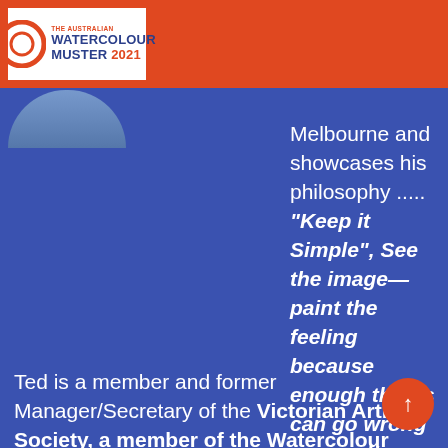[Figure (logo): The Australian Watercolour Muster 2021 logo with orange circle on white background, on orange header bar]
Melbourne and showcases his philosophy ..... "Keep it Simple", See the image—paint the feeling because enough things can go wrong anyway!! ....... Ted says, 'I have drawn for as long as I care to remember. I love plein air painting, teaching and giving the occasional demonstration.
Ted is a member and former Manager/Secretary of the Victorian Artists Society, a member of the Watercolour Society of Victoria and member of the Hobson's Bay Art Society.
Ted is fun to have around to share and paint - he came to FabrianoInAcquarello -